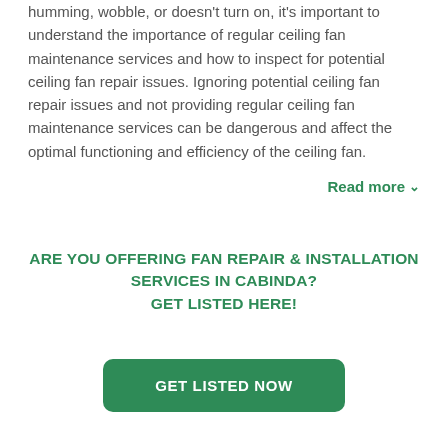humming, wobble, or doesn't turn on, it's important to understand the importance of regular ceiling fan maintenance services and how to inspect for potential ceiling fan repair issues. Ignoring potential ceiling fan repair issues and not providing regular ceiling fan maintenance services can be dangerous and affect the optimal functioning and efficiency of the ceiling fan.
Read more ∨
ARE YOU OFFERING FAN REPAIR & INSTALLATION SERVICES IN CABINDA? GET LISTED HERE!
GET LISTED NOW